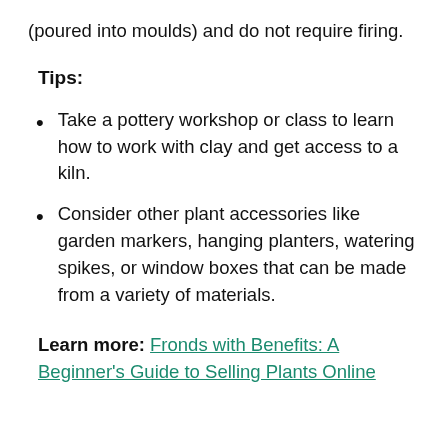(poured into moulds) and do not require firing.
Tips:
Take a pottery workshop or class to learn how to work with clay and get access to a kiln.
Consider other plant accessories like garden markers, hanging planters, watering spikes, or window boxes that can be made from a variety of materials.
Learn more: Fronds with Benefits: A Beginner's Guide to Selling Plants Online